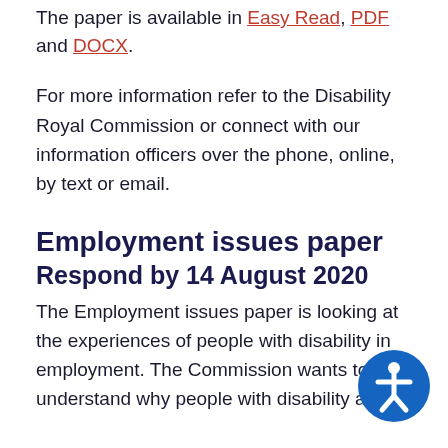The paper is available in Easy Read, PDF and DOCX.
For more information refer to the Disability Royal Commission or connect with our information officers over the phone, online, by text or email.
Employment issues paper
Respond by 14 August 2020
The Employment issues paper is looking at the experiences of people with disability in employment. The Commission wants to understand why people with disability are